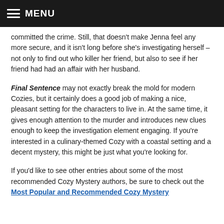MENU
committed the crime. Still, that doesn't make Jenna feel any more secure, and it isn't long before she's investigating herself – not only to find out who killer her friend, but also to see if her friend had had an affair with her husband.
Final Sentence may not exactly break the mold for modern Cozies, but it certainly does a good job of making a nice, pleasant setting for the characters to live in. At the same time, it gives enough attention to the murder and introduces new clues enough to keep the investigation element engaging. If you're interested in a culinary-themed Cozy with a coastal setting and a decent mystery, this might be just what you're looking for.
If you'd like to see other entries about some of the most recommended Cozy Mystery authors, be sure to check out the Most Popular and Recommended Cozy Mystery